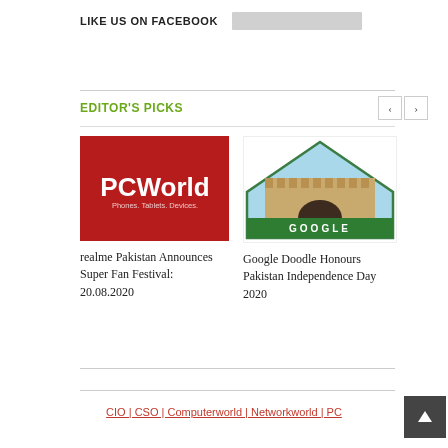LIKE US ON FACEBOOK
EDITOR'S PICKS
[Figure (logo): PCWorld logo — red background with white PCWorld text and tagline 'Phones. Tablets. Devices.']
realme Pakistan Announces Super Fan Festival: 20.08.2020
[Figure (illustration): Google Doodle featuring a pentagon/house shape with Pakistan's Lahore Fort imagery and a green 'GOOGLE' banner below]
Google Doodle Honours Pakistan Independence Day 2020
CIO | CSO | Computerworld | Networkworld | PC